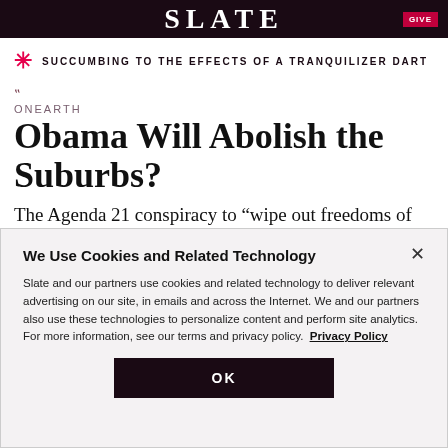SLATE
SUCCUMBING TO THE EFFECTS OF A TRANQUILIZER DART
ONEARTH
Obama Will Abolish the Suburbs?
The Agenda 21 conspiracy to “wipe out freedoms of all U.S. citizens”
We Use Cookies and Related Technology
Slate and our partners use cookies and related technology to deliver relevant advertising on our site, in emails and across the Internet. We and our partners also use these technologies to personalize content and perform site analytics. For more information, see our terms and privacy policy. Privacy Policy
OK